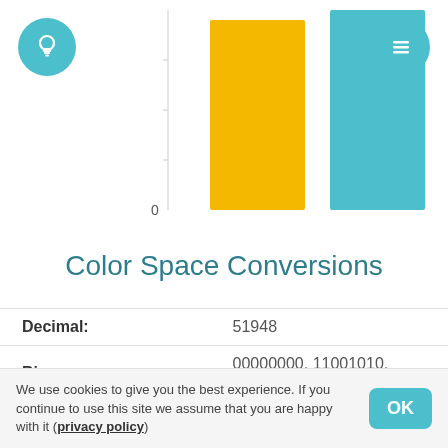[Figure (bar-chart): Color comparison chart]
Color Space Conversions
| Property | Value |
| --- | --- |
| Decimal: | 51948 |
| Binary: | 00000000, 11001010, 11101100 |
| Hexadecimal: | #00caec |
We use cookies to give you the best experience. If you continue to use this site we assume that you are happy with it (privacy policy)